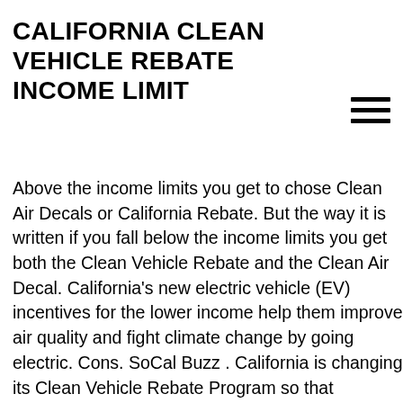CALIFORNIA CLEAN VEHICLE REBATE INCOME LIMIT
Above the income limits you get to chose Clean Air Decals or California Rebate. But the way it is written if you fall below the income limits you get both the Clean Vehicle Rebate and the Clean Air Decal. California's new electric vehicle (EV) incentives for the lower income help them improve air quality and fight climate change by going electric. Cons. SoCal Buzz . California is changing its Clean Vehicle Rebate Program so that incentives are based on income. Be sure to check out the Clean Vehicle Rebate Project … you may be eligible for both the California Clean Fuel Reward (point-of-sale rebate) and the Clean Vehicle Rebate Project (CVRP). The changes bind the value of rebate to income. Not every car gets $1,500. The agency cut the standard rebate amounts by $500, to $2,000 for battery-electric vehicles, $1,000 for PHEVs and $4,500 for fuel cell electric vehicles. According to a posting on the group's website today, the proposal has since been approved with implementation anticipated to begin in mid-March of 2016. 0. The board